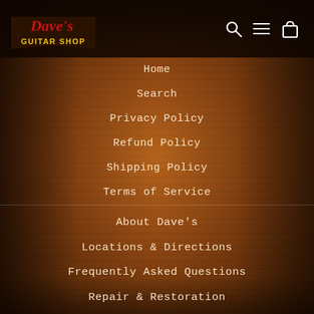[Figure (logo): Dave's Guitar Shop logo — red stylized text 'Dave's' with yellow 'GUITAR SHOP' on a dark banner]
Home
Search
Privacy Policy
Refund Policy
Shipping Policy
Terms of Service
About Dave's
Locations & Directions
Frequently Asked Questions
Repair & Restoration
Sell Us Your Gear!